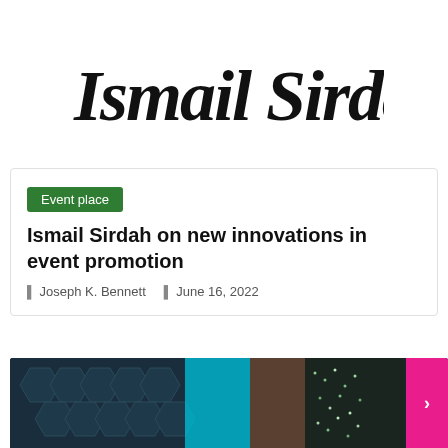[Figure (logo): Ismail Sirdah handwritten signature/logo in black cursive script]
Event place
Ismail Sirdah on new innovations in event promotion
Joseph K. Bennett   June 16, 2022
[Figure (photo): Photo of an event venue with dark hexagonal wall panels on the left, a glowing teal/cyan light panel in the center, brown curtains, and string fairy lights on the right side]